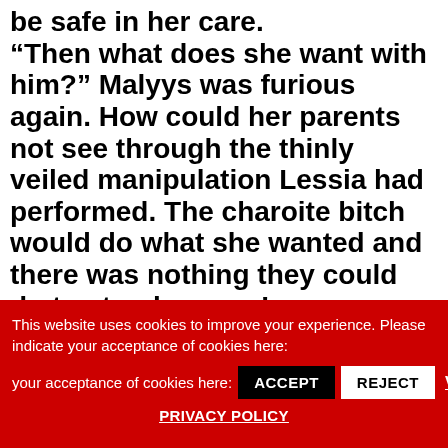“Then what does she want with him?” Malyys was furious again. How could her parents not see through the thinly veiled manipulation Lessia had performed. The charoite bitch would do what she wanted and there was nothing they could do to stop her now! Sire sighed. “She wouldn’t say. Only that she wanted to raise
This website uses cookies to improve your experience. Please indicate your acceptance of cookies here:
ACCEPT
REJECT
VIEW
PRIVACY POLICY